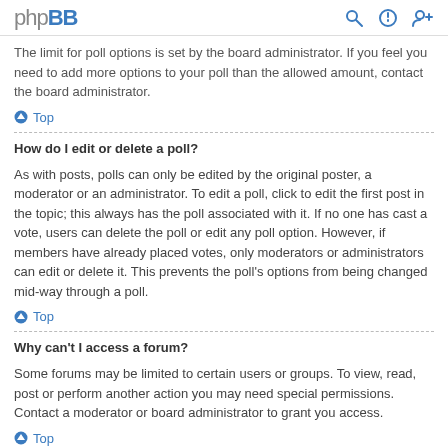phpBB
The limit for poll options is set by the board administrator. If you feel you need to add more options to your poll than the allowed amount, contact the board administrator.
Top
How do I edit or delete a poll?
As with posts, polls can only be edited by the original poster, a moderator or an administrator. To edit a poll, click to edit the first post in the topic; this always has the poll associated with it. If no one has cast a vote, users can delete the poll or edit any poll option. However, if members have already placed votes, only moderators or administrators can edit or delete it. This prevents the poll's options from being changed mid-way through a poll.
Top
Why can't I access a forum?
Some forums may be limited to certain users or groups. To view, read, post or perform another action you may need special permissions. Contact a moderator or board administrator to grant you access.
Top